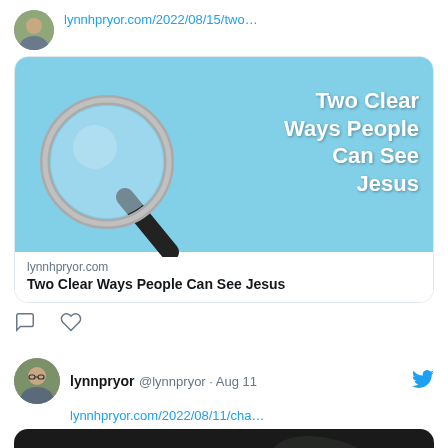lynnhpryor.com/2022/08/15/two…
[Figure (photo): Link card preview image with light blue background, magnifying glass on the left, and white bold text on the right reading 'Two Clear Ways People Can See Jesus']
lynnhpryor.com
Two Clear Ways People Can See Jesus
comment and heart action icons
lynnpryor @lynnpryor · Aug 11
lynnhpryor.com/2022/08/11/cha…
[Figure (photo): Dark background photo with an orange/yellow flower in focus]